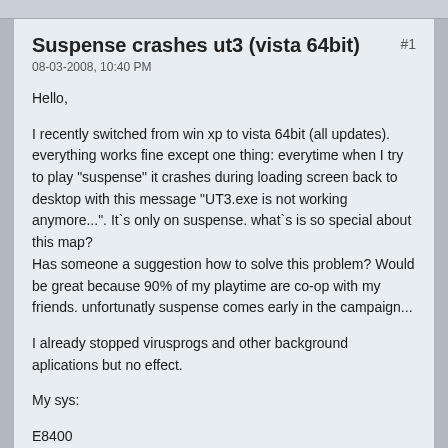Suspense crashes ut3 (vista 64bit)
08-03-2008, 10:40 PM
Hello,

I recently switched from win xp to vista 64bit (all updates). everything works fine except one thing: everytime when I try to play "suspense" it crashes during loading screen back to desktop with this message "UT3.exe is not working anymore...". It`s only on suspense. what`s is so special about this map?
Has someone a suggestion how to solve this problem? Would be great because 90% of my playtime are co-op with my friends. unfortunatly suspense comes early in the campaign...

I already stopped virusprogs and other background aplications but no effect.

My sys:

E8400
Asus P45 P5Q pro
HD 3870
4gb ram ddr2 800 (cl5)
nothing oced
Tags: None